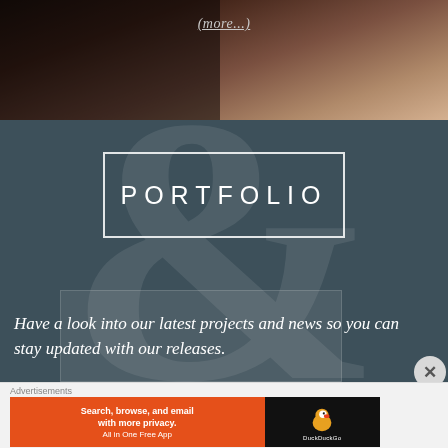[Figure (photo): Top portion of page showing a blurred/dark photo background with '(more...)' link text overlay]
(more...)
[Figure (photo): Dark teal/grey background with large faded ampersand (&) symbol and a white bordered rectangle frame containing the text PORTFOLIO]
PORTFOLIO
Have a look into our latest projects and news so you can stay updated with our releases.
Advertisements
[Figure (screenshot): DuckDuckGo advertisement banner: orange section with text 'Search, browse, and email with more privacy. All in One Free App' and dark section with DuckDuckGo duck logo]